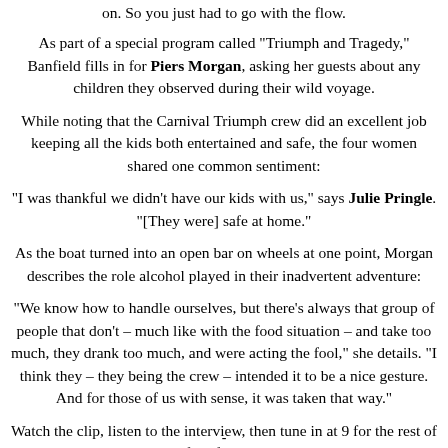on. So you just had to go with the flow.
As part of a special program called "Triumph and Tragedy," Banfield fills in for Piers Morgan, asking her guests about any children they observed during their wild voyage.
While noting that the Carnival Triumph crew did an excellent job keeping all the kids both entertained and safe, the four women shared one common sentiment:
"I was thankful we didn't have our kids with us," says Julie Pringle. "[They were] safe at home."
As the boat turned into an open bar on wheels at one point, Morgan describes the role alcohol played in their inadvertent adventure:
"We know how to handle ourselves, but there's always that group of people that don't – much like with the food situation – and take too much, they drank too much, and were acting the fool," she details. "I think they – they being the crew – intended it to be a nice gesture. And for those of us with sense, it was taken that way."
Watch the clip, listen to the interview, then tune in at 9 for the rest of the interview with the four friends who had their birthday celebration sunk aboard the Carnival Triumph.
-